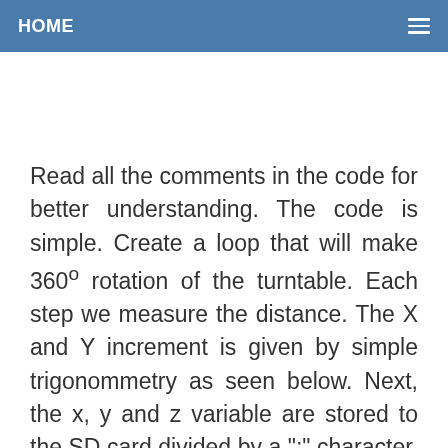HOME
Read all the comments in the code for better understanding. The code is simple. Create a loop that will make 360º rotation of the turntable. Each step we measure the distance. The X and Y increment is given by simple trigonommetry as seen below. Next, the x, y and z variable are stored to the SD card divided by a ";" character. This step is important for later.